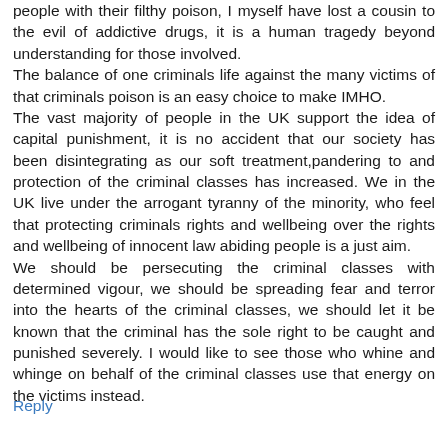people with their filthy poison, I myself have lost a cousin to the evil of addictive drugs, it is a human tragedy beyond understanding for those involved. The balance of one criminals life against the many victims of that criminals poison is an easy choice to make IMHO. The vast majority of people in the UK support the idea of capital punishment, it is no accident that our society has been disintegrating as our soft treatment,pandering to and protection of the criminal classes has increased. We in the UK live under the arrogant tyranny of the minority, who feel that protecting criminals rights and wellbeing over the rights and wellbeing of innocent law abiding people is a just aim. We should be persecuting the criminal classes with determined vigour, we should be spreading fear and terror into the hearts of the criminal classes, we should let it be known that the criminal has the sole right to be caught and punished severely. I would like to see those who whine and whinge on behalf of the criminal classes use that energy on the victims instead.
Reply